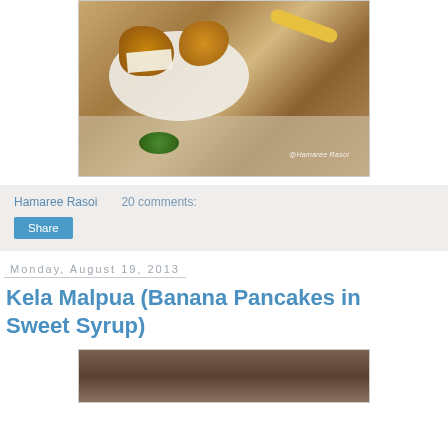[Figure (photo): Food photo showing fried/baked items on a white plate with a yellow-handled spoon and green chutney, on a dotted tablecloth. Watermark reads @Hamaree Rasoi]
Hamaree Rasoi    20 comments:
Share
Monday, August 19, 2013
Kela Malpua (Banana Pancakes in Sweet Syrup)
[Figure (photo): Partial food photo showing a brown/chocolate colored surface, bottom portion of an image]